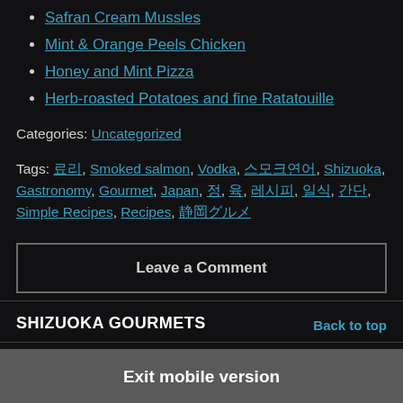Safran Cream Mussles
Mint & Orange Peels Chicken
Honey and Mint Pizza
Herb-roasted Potatoes and fine Ratatouille
Categories: Uncategorized
Tags: 료리, Smoked salmon, Vodka, 스모크연어, Shizuoka, Gastronomy, Gourmet, Japan, 정, 육, 레시피, 일식, 간단, Simple Recipes, Recipes, 静岡グルメ
Leave a Comment
SHIZUOKA GOURMETS
Back to top
Exit mobile version